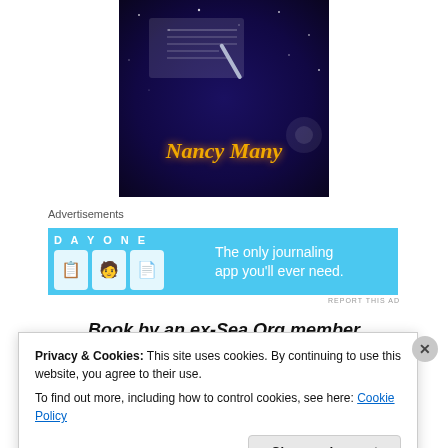[Figure (illustration): Book cover image for 'My Billion Year Contract' by Nancy Many, showing a hand signing a document against a starry space background, with the author name 'Nancy Many' in large golden italic text at the bottom.]
Advertisements
[Figure (screenshot): Advertisement banner for 'DAY ONE' journaling app with icons and text reading 'The only journaling app you'll ever need.' on a light blue background.]
REPORT THIS AD
Book by an ex-Sea Org member
Privacy & Cookies: This site uses cookies. By continuing to use this website, you agree to their use.
To find out more, including how to control cookies, see here: Cookie Policy
Close and accept